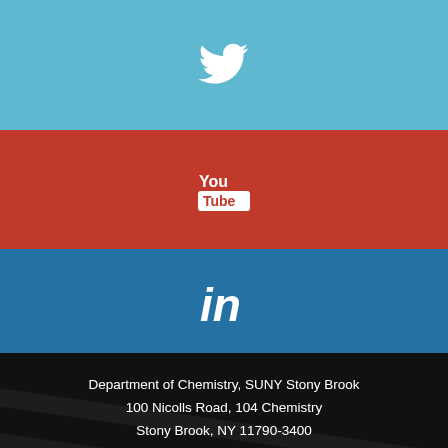[Figure (logo): Twitter bird icon on light blue background]
[Figure (logo): YouTube logo icon on red background]
[Figure (logo): LinkedIn 'in' icon on blue background]
Department of Chemistry, SUNY Stony Brook
100 Nicolls Road, 104 Chemistry
Stony Brook, NY 11790-3400
Phone: (631) 632 7880
Fax: (631) 632 7960
Report an accessibility barrier
© 2022 Stony Brook University